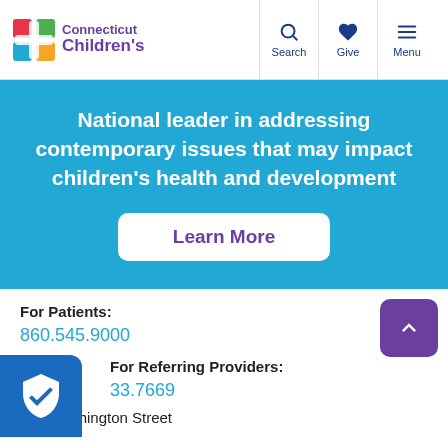Connecticut Children's — Search | Give | Menu
National leader in addressing contemporary issues that may impact children's health and development
Learn More
For Patients:
860.545.9000
For Referring Providers:
833.7669
282 Washington Street